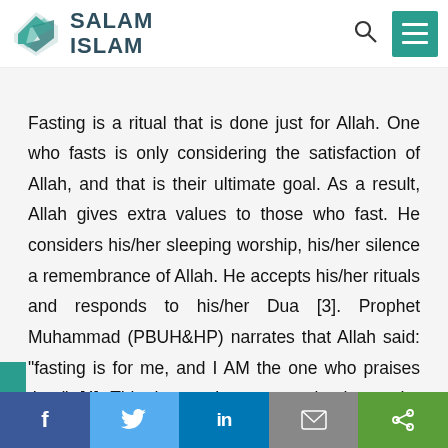SALAM ISLAM
Fasting is a ritual that is done just for Allah. One who fasts is only considering the satisfaction of Allah, and that is their ultimate goal. As a result, Allah gives extra values to those who fast. He considers his/her sleeping worship, his/her silence a remembrance of Allah. He accepts his/her rituals and responds to his/her Dua [3]. Prophet Muhammad (PBUH&HP) narrates that Allah said: "fasting is for me, and I AM the one who praises that." [4] This has a lot to say; it shows the greatness of the strives of human beings to keep themselves
f  Twitter  in  Email  Share